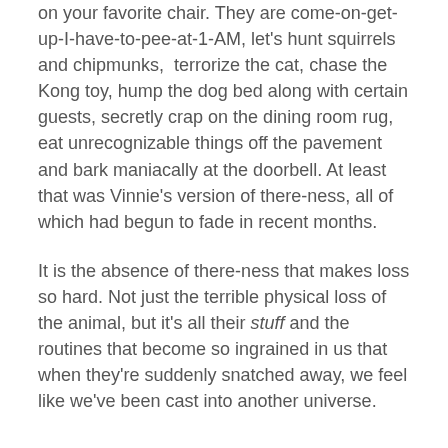on your favorite chair. They are come-on-get-up-I-have-to-pee-at-1-AM, let's hunt squirrels and chipmunks, terrorize the cat, chase the Kong toy, hump the dog bed along with certain guests, secretly crap on the dining room rug, eat unrecognizable things off the pavement and bark maniacally at the doorbell. At least that was Vinnie's version of there-ness, all of which had begun to fade in recent months.
It is the absence of there-ness that makes loss so hard. Not just the terrible physical loss of the animal, but it's all their stuff and the routines that become so ingrained in us that when they're suddenly snatched away, we feel like we've been cast into another universe.